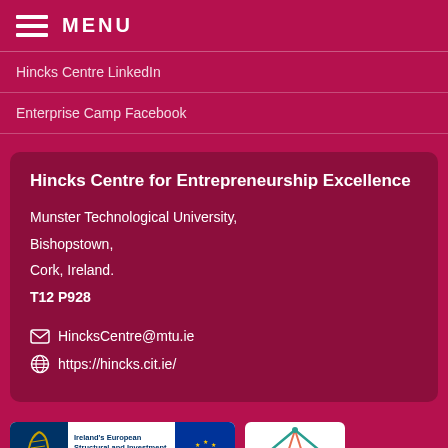MENU
Hincks Centre LinkedIn
Enterprise Camp Facebook
Hincks Centre for Entrepreneurship Excellence
Munster Technological University,
Bishopstown,
Cork, Ireland.
T12 P928
HincksCentre@mtu.ie
https://hincks.cit.ie/
[Figure (logo): Ireland's European Structural and Investment Funds Programmes 2014-2020 logo with harp and EU flag]
[Figure (logo): Triangle/house logo with geometric design in teal and orange]